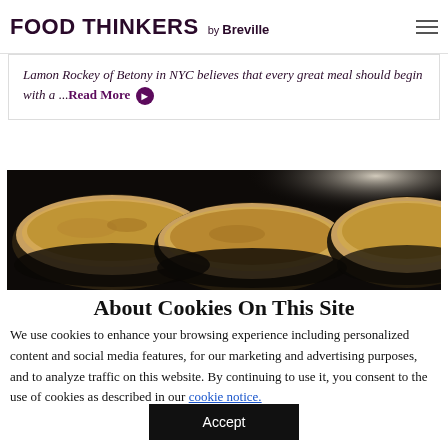FOOD THINKERS by Breville
Lamon Rockey of Betony in NYC believes that every great meal should begin with a ...Read More
[Figure (photo): Three small ramekins filled with a golden custard or brûlée dessert on a dark background]
About Cookies On This Site
We use cookies to enhance your browsing experience including personalized content and social media features, for our marketing and advertising purposes, and to analyze traffic on this website. By continuing to use it, you consent to the use of cookies as described in our cookie notice.
Accept